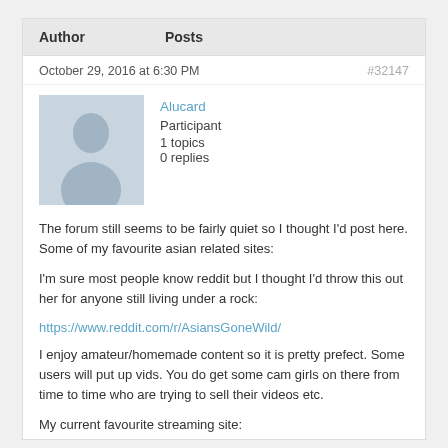| Author | Posts |
| --- | --- |
October 29, 2016 at 6:30 PM
#32147
[Figure (illustration): Default avatar silhouette of a person, light blue-grey background]
Alucard
Participant
1 topics
0 replies
The forum still seems to be fairly quiet so I thought I’d post here. Some of my favourite asian related sites:
I’m sure most people know reddit but I thought I’d throw this out her for anyone still living under a rock:
https://www.reddit.com/r/AsiansGoneWild/
I enjoy amateur/homemade content so it is pretty prefect. Some users will put up vids. You do get some cam girls on there from time to time who are trying to sell their videos etc.
My current favourite streaming site:
http://javfor.me/